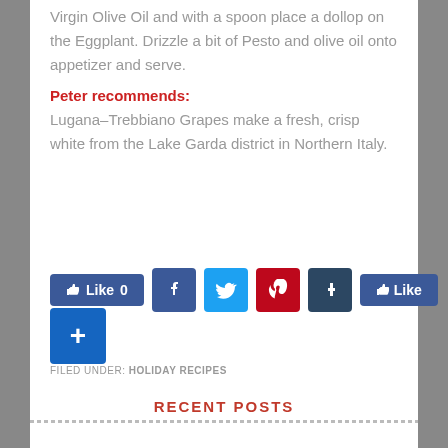Virgin Olive Oil and with a spoon place a dollop on the Eggplant. Drizzle a bit of Pesto and olive oil onto appetizer and serve.
Peter recommends:
Lugana–Trebbiano Grapes make a fresh, crisp white from the Lake Garda district in Northern Italy.
[Figure (infographic): Social sharing buttons: Like 0 button, Facebook icon, Twitter icon, Pinterest icon, Tumblr icon, Like button, and a blue plus (+) button]
FILED UNDER: HOLIDAY RECIPES
RECENT POSTS